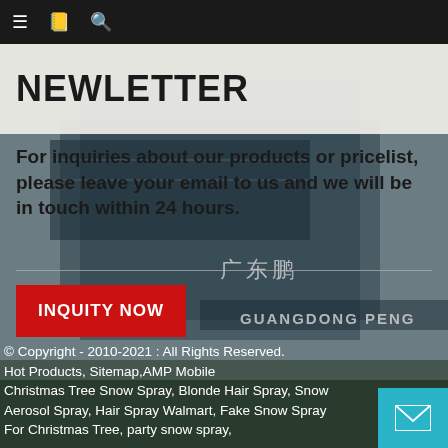Navigation bar with menu, document, and search icons
NEWLETTER
For inquiries about our products or pricelist, please leave your email to us and we will be in touch within 24 hours.
[Figure (other): Red INQUITY NOW button overlaid on a photo of a building with Chinese characters and text GUANGDONG PENG]
© Copyright - 2010-2021 : All Rights Reserved.
Hot Products, Sitemap, AMP Mobile
Christmas Tree Snow Spray, Blonde Hair Spray, Snow Aerosol Spray, Hair Spray Walmart, Fake Snow Spray For Christmas Tree, party snow spray,